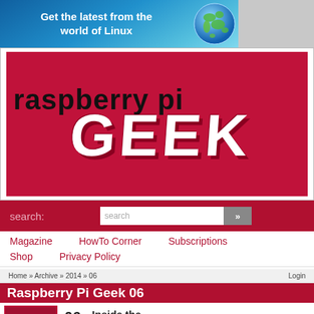[Figure (illustration): Banner advertisement: 'Get the latest from the world of Linux' with globe image on blue gradient background]
[Figure (logo): Raspberry Pi Geek magazine logo - 'raspberry pi' in black text above 'GEEK' in large white text on crimson/red background]
search:
search
Magazine   HowTo Corner   Subscriptions   Shop   Privacy Policy
Home » Archive » 2014 » 06
Login
Raspberry Pi Geek 06
06
Inside the